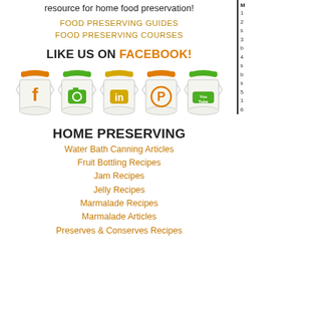resource for home food preservation!
FOOD PRESERVING GUIDES
FOOD PRESERVING COURSES
LIKE US ON FACEBOOK!
[Figure (illustration): Five mason jars with social media icons: Facebook (orange), Instagram (green), LinkedIn (yellow), Pinterest (orange), YouTube (green)]
HOME PRESERVING
Water Bath Canning Articles
Fruit Bottling Recipes
Jam Recipes
Jelly Recipes
Marmalade Recipes
Marmalade Articles
Preserves & Conserves Recipes